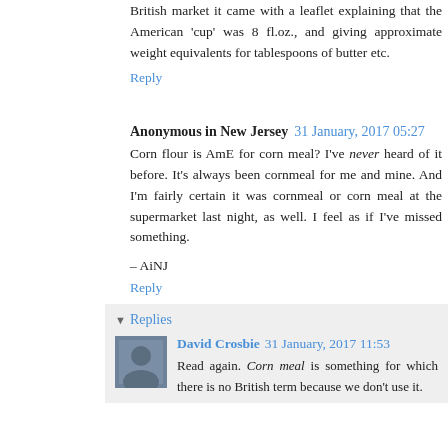British market it came with a leaflet explaining that the American 'cup' was 8 fl.oz., and giving approximate weight equivalents for tablespoons of butter etc.
Reply
Anonymous in New Jersey  31 January, 2017 05:27
Corn flour is AmE for corn meal? I've never heard of it before. It's always been cornmeal for me and mine. And I'm fairly certain it was cornmeal or corn meal at the supermarket last night, as well. I feel as if I've missed something.
– AiNJ
Reply
Replies
David Crosbie  31 January, 2017 11:53
Read again. Corn meal is something for which there is no British term because we don't use it.